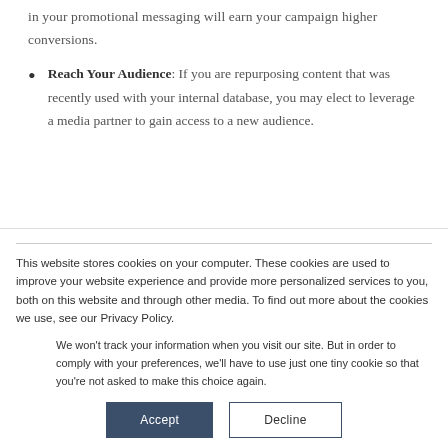in your promotional messaging will earn your campaign higher conversions.
Reach Your Audience: If you are repurposing content that was recently used with your internal database, you may elect to leverage a media partner to gain access to a new audience.
This website stores cookies on your computer. These cookies are used to improve your website experience and provide more personalized services to you, both on this website and through other media. To find out more about the cookies we use, see our Privacy Policy.
We won't track your information when you visit our site. But in order to comply with your preferences, we'll have to use just one tiny cookie so that you're not asked to make this choice again.